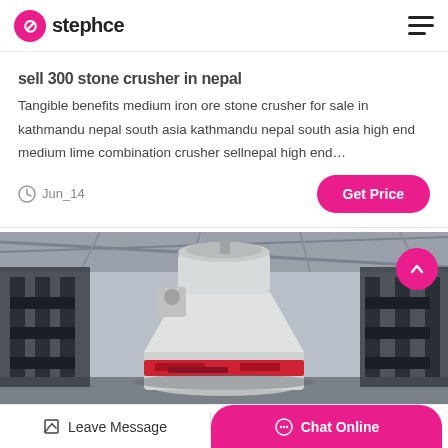stephce
sell 300 stone crusher in nepal
Tangible benefits medium iron ore stone crusher for sale in kathmandu nepal south asia kathmandu nepal south asia high end medium lime combination crusher sellnepal high end…
Jun_14
[Figure (photo): Industrial cone crusher machine in a factory/warehouse setting. Large white cylindrical cone crusher with red accent band, surrounded by black metal framework and industrial scaffolding.]
Leave Message  Chat Online